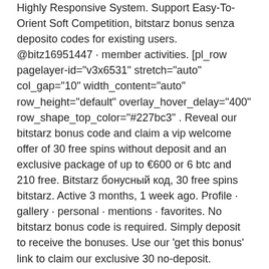Highly Responsive System. Support Easy-To-Orient Soft Competition, bitstarz bonus senza deposito codes for existing users. @bitz16951447 · member activities. [pl_row pagelayer-id=&quot;v3x6531&quot; stretch=&quot;auto&quot; col_gap=&quot;10&quot; width_content=&quot;auto&quot; row_height=&quot;default&quot; overlay_hover_delay=&quot;400&quot; row_shape_top_color=&quot;#227bc3&quot; . Reveal our bitstarz bonus code and claim a vip welcome offer of 30 free spins without deposit and an exclusive package of up to €600 or 6 btc and 210 free. Bitstarz бонусный код, 30 free spins bitstarz. Active 3 months, 1 week ago. Profile · gallery · personal · mentions · favorites. No bitstarz bonus code is required. Simply deposit to receive the bonuses. Use our 'get this bonus' link to claim our exclusive 30 no-deposit.